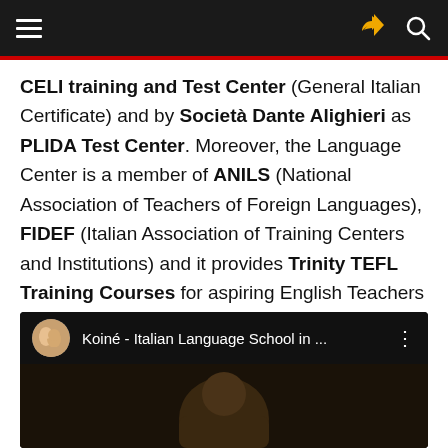Navigation bar with hamburger menu and share/search icons
CELI training and Test Center (General Italian Certificate) and by Società Dante Alighieri as PLIDA Test Center. Moreover, the Language Center is a member of ANILS (National Association of Teachers of Foreign Languages), FIDEF (Italian Association of Training Centers and Institutions) and it provides Trinity TEFL Training Courses for aspiring English Teachers Worldwide.
[Figure (screenshot): YouTube video embed showing Koiné - Italian Language School in ... with a circular avatar of two women and a three-dot menu icon, dark background with partial video thumbnail showing a person]